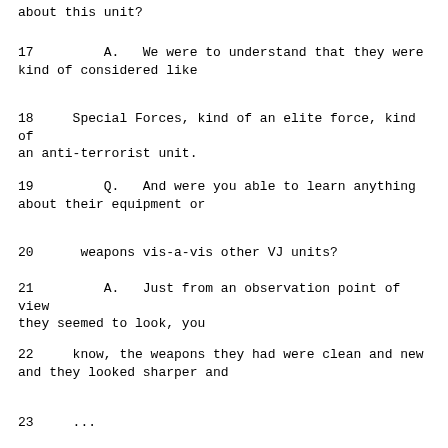about this unit?
17         A.   We were to understand that they were kind of considered like
18      Special Forces, kind of an elite force, kind of an anti-terrorist unit.
19         Q.   And were you able to learn anything about their equipment or
20      weapons vis-a-vis other VJ units?
21         A.   Just from an observation point of view they seemed to look, you
22      know, the weapons they had were clean and new and they looked sharper and
23      ...